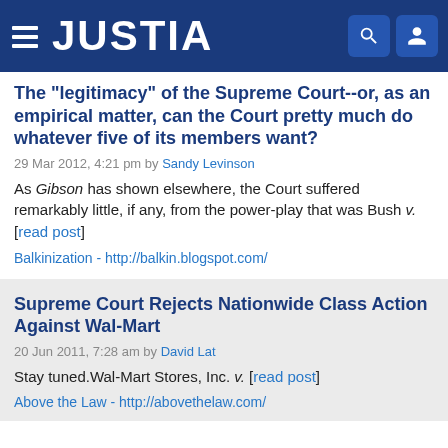JUSTIA
The "legitimacy" of the Supreme Court--or, as an empirical matter, can the Court pretty much do whatever five of its members want?
29 Mar 2012, 4:21 pm by Sandy Levinson
As Gibson has shown elsewhere, the Court suffered remarkably little, if any, from the power-play that was Bush v. [read post]
Balkinization - http://balkin.blogspot.com/
Supreme Court Rejects Nationwide Class Action Against Wal-Mart
20 Jun 2011, 7:28 am by David Lat
Stay tuned.Wal-Mart Stores, Inc. v. [read post]
Above the Law - http://abovethelaw.com/